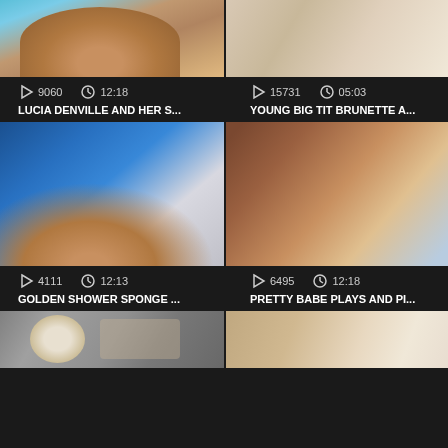[Figure (screenshot): Video thumbnail grid showing adult content video listings with thumbnails, play counts, durations, and titles]
9060  12:18
LUCIA DENVILLE AND HER S...
15731  05:03
YOUNG BIG TIT BRUNETTE A...
4111  12:13
GOLDEN SHOWER SPONGE ...
6495  12:18
PRETTY BABE PLAYS AND PI...